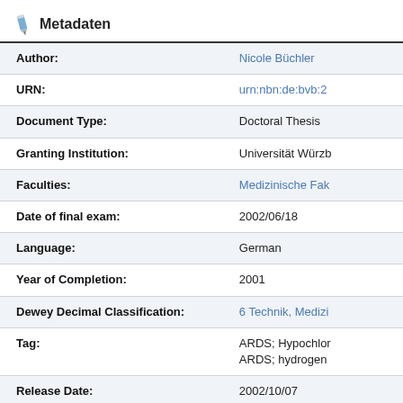Metadaten
| Field | Value |
| --- | --- |
| Author: | Nicole Büchler |
| URN: | urn:nbn:de:bvb:2… |
| Document Type: | Doctoral Thesis |
| Granting Institution: | Universität Würzb… |
| Faculties: | Medizinische Fak… |
| Date of final exam: | 2002/06/18 |
| Language: | German |
| Year of Completion: | 2001 |
| Dewey Decimal Classification: | 6 Technik, Medizi… |
| Tag: | ARDS; Hypochlor… ARDS; hydrogen… |
| Release Date: | 2002/10/07 |
| Advisor: | Dr. med. Stefan H… |